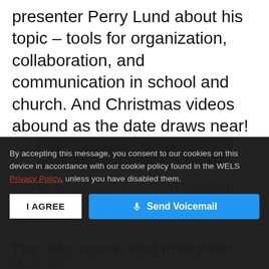presenter Perry Lund about his topic – tools for organization, collaboration, and communication in school and church. And Christmas videos abound as the date draws near!
[Figure (other): Audio player widget with play button, time display 00:00, progress bar, and end time 00:00 on dark background]
Podcast: Download (Duration: 1:00:35 – 57.6MB)
The discussion and interview:
Microsoft OneNote and Teams – Teacher Perry Lund from Evergreen
By accepting this message, you consent to our cookies on this device in accordance with our cookie policy found in the WELS Privacy Policy, unless you have disabled them.
I AGREE
🎤 Send Voicemail